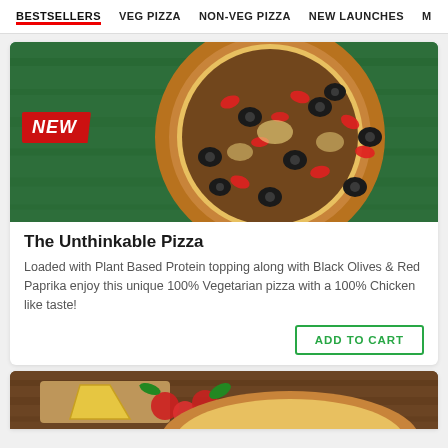BESTSELLERS   VEG PIZZA   NON-VEG PIZZA   NEW LAUNCHES   MEAL
[Figure (photo): Close-up photo of The Unthinkable Pizza topped with plant-based protein, black olives, and red paprika slices, on a green wooden background. A red 'NEW' badge is visible in the top-left area of the image.]
The Unthinkable Pizza
Loaded with Plant Based Protein topping along with Black Olives & Red Paprika enjoy this unique 100% Vegetarian pizza with a 100% Chicken like taste!
ADD TO CART
[Figure (photo): Partial view of a second pizza product card showing cheese, tomatoes, and basil on a wooden background — only the top portion is visible.]